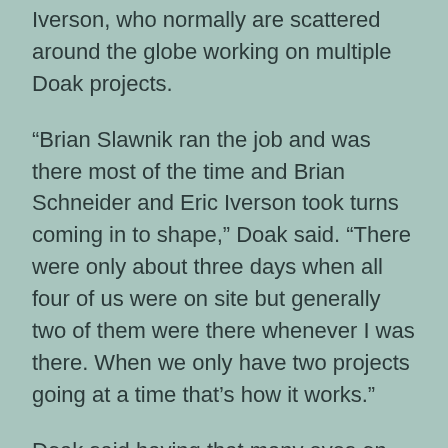Iverson, who normally are scattered around the globe working on multiple Doak projects.
“Brian Slawnik ran the job and was there most of the time and Brian Schneider and Eric Iverson took turns coming in to shape,” Doak said. “There were only about three days when all four of us were on site but generally two of them were there whenever I was there. When we only have two projects going at a time that’s how it works.”
Doak said having that many eyes on this particular project was a big boost.